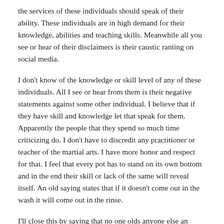the services of these individuals should speak of their ability. These individuals are in high demand for their knowledge, abilities and teaching skills. Meanwhile all you see or hear of their disclaimers is their caustic ranting on social media.
I don't know of the knowledge or skill level of any of these individuals. All I see or hear from them is their negative statements against some other individual. I believe that if they have skill and knowledge let that speak for them. Apparently the people that they spend so much time criticizing do. I don't have to discredit any practitioner or teacher of the martial arts. I have more honor and respect for that. I feel that every pot has to stand on its own bottom and in the end their skill or lack of the same will reveal itself. An old saying states that if it doesn't come out in the wash it will come out in the rinse.
I'll close this by saying that no one olds anyone else an...